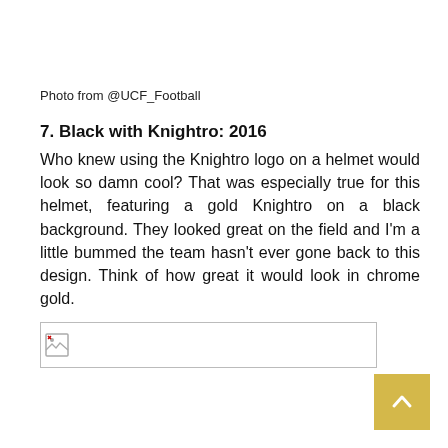Photo from @UCF_Football
7. Black with Knightro: 2016
Who knew using the Knightro logo on a helmet would look so damn cool? That was especially true for this helmet, featuring a gold Knightro on a black background. They looked great on the field and I'm a little bummed the team hasn't ever gone back to this design. Think of how great it would look in chrome gold.
[Figure (photo): Broken image placeholder — image failed to load, showing broken image icon inside a bordered rectangle]
[Figure (other): Scroll-to-top button with upward arrow on gold/tan background]